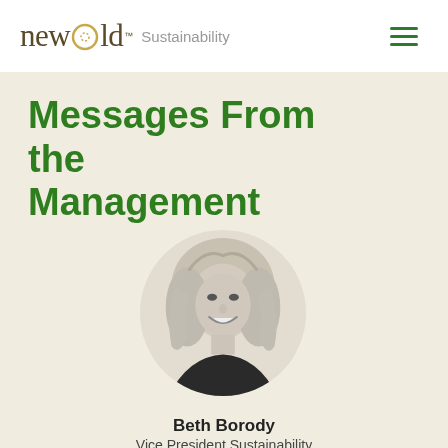new gold Sustainability
Messages From the Management
[Figure (photo): Black and white circular portrait photo of Beth Borody, a woman with wavy blonde hair, smiling, wearing a dark top]
Beth Borody
Vice President Sustainability